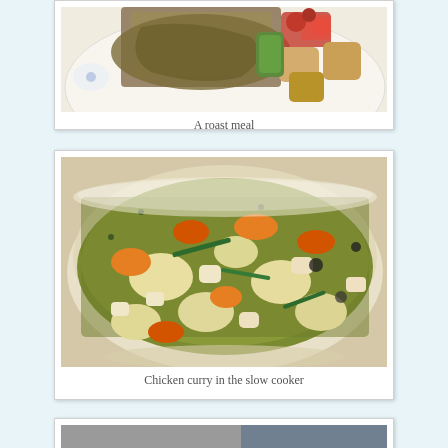[Figure (photo): A roast meal on a plate with gravy over meat slices and roasted vegetables (tomatoes, potatoes, zucchini) on the side]
A roast meal
[Figure (photo): Chicken curry in a slow cooker in a bowl, showing chunks of potato, carrots, chicken pieces in a green/olive broth with herbs]
Chicken curry in the slow cooker
[Figure (photo): Partially visible image at the bottom of the page]